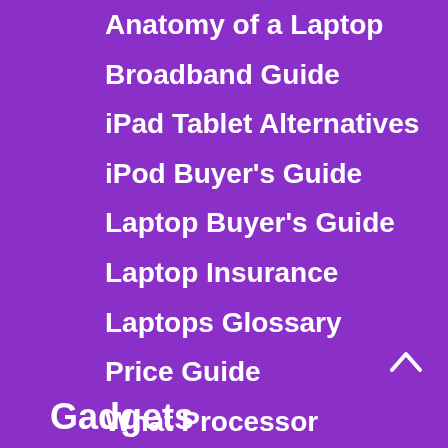Anatomy of a Laptop
Broadband Guide
iPad Tablet Alternatives
iPod Buyer's Guide
Laptop Buyer's Guide
Laptop Insurance
Laptops Glossary
Price Guide
What Processor
Student Guide to Essential Technology
Gadgets